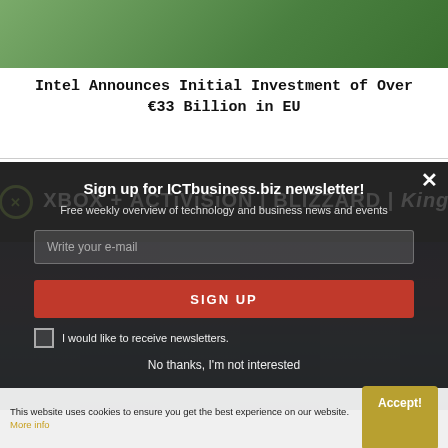[Figure (screenshot): Top portion of an article page showing a green/outdoor scene image partially visible]
Intel Announces Initial Investment of Over €33 Billion in EU
[Figure (screenshot): Xbox + Activision Blizzard King logos on dark background banner]
Sign up for ICTbusiness.biz newsletter!
Free weekly overview of technology and business news and events
Write your e-mail
SIGN UP
I would like to receive newsletters.
No thanks, I'm not interested
This website uses cookies to ensure you get the best experience on our website. More info
Accept!